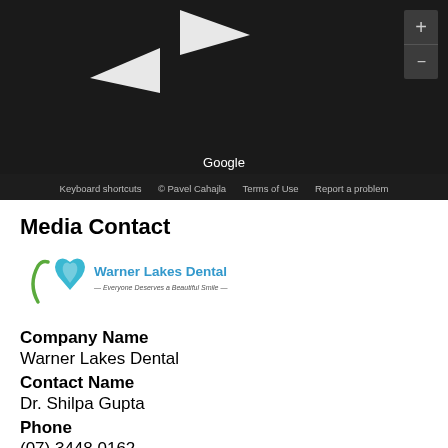[Figure (screenshot): Google Maps screenshot showing a dark map view with navigation arrows, zoom controls (+/-), Google branding, and a footer bar with 'Keyboard shortcuts © Pavel Cahajla Terms of Use Report a problem']
Media Contact
[Figure (logo): Warner Lakes Dental logo — teal/blue tooth/heart icon with green swoosh, text 'Warner Lakes Dental' in blue and tagline '— Everyone Deserves a Beautiful Smile —']
Company Name
Warner Lakes Dental
Contact Name
Dr. Shilpa Gupta
Phone
(07) 3448 0162
Address
Warner Lakes Medical Precinct, 1185B Old North